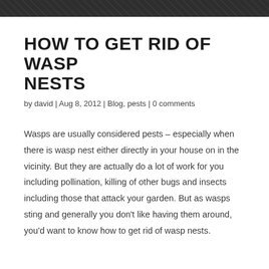HOW TO GET RID OF WASP NESTS
by david | Aug 8, 2012 | Blog, pests | 0 comments
Wasps are usually considered pests – especially when there is wasp nest either directly in your house on in the vicinity. But they are actually do a lot of work for you including pollination, killing of other bugs and insects including those that attack your garden. But as wasps sting and generally you don't like having them around, you'd want to know how to get rid of wasp nests.